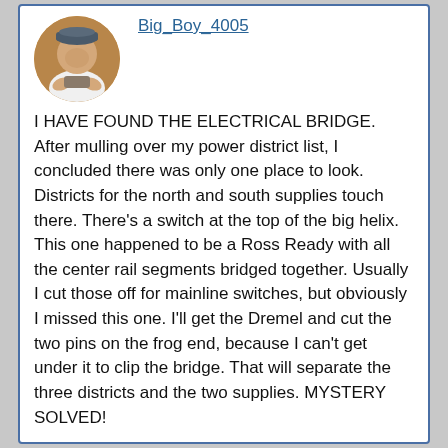[Figure (photo): Circular profile photo avatar of a person wearing a cap, holding something, with warm brown/orange background tones]
Big_Boy_4005
I HAVE FOUND THE ELECTRICAL BRIDGE. After mulling over my power district list, I concluded there was only one place to look. Districts for the north and south supplies touch there. There's a switch at the top of the big helix. This one happened to be a Ross Ready with all the center rail segments bridged together. Usually I cut those off for mainline switches, but obviously I missed this one. I'll get the Dremel and cut the two pins on the frog end, because I can't get under it to clip the bridge. That will separate the three districts and the two supplies. MYSTERY SOLVED!
There could be a lot of ground feedback loops,